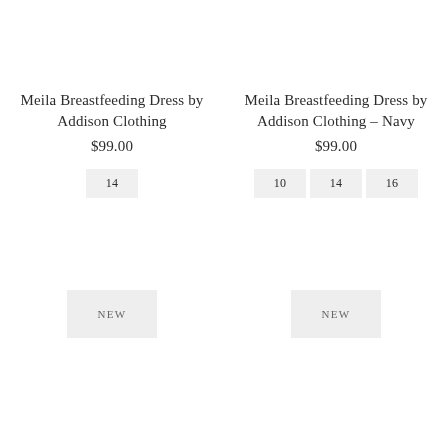Meila Breastfeeding Dress by Addison Clothing
$99.00
14
NEW
Meila Breastfeeding Dress by Addison Clothing - Navy
$99.00
10
14
16
NEW